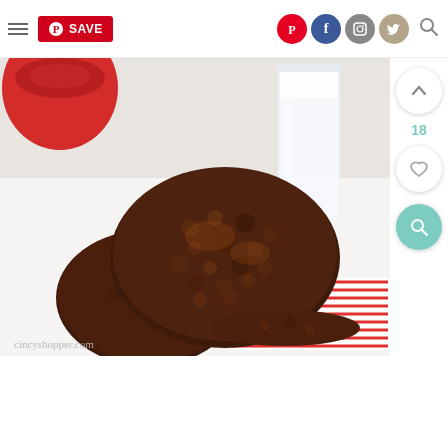[Figure (screenshot): Website navigation bar with hamburger menu, Pinterest SAVE button, social media icons (Pinterest, Facebook, Instagram, Twitter), and search icon]
[Figure (photo): No-bake chocolate oatmeal cookies stacked on a white surface, with a red bowl in the upper left background, a glass of milk in the upper right, and a red-and-white striped napkin/plate. Watermark reads cincyshopper.com]
[Figure (infographic): Right-side floating action buttons: up-arrow button, vote count '18', heart/favorite button, teal magnifying glass button]